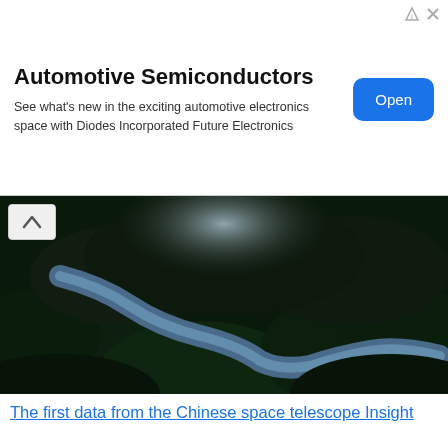[Figure (infographic): Advertisement banner: Automotive Semiconductors ad with blue Open button]
[Figure (photo): Aerial photo of a river winding through a dark mountainous jungle landscape, used as article thumbnail]
The first data from the Chinese space telescope Insight
x-ray Space telescope, launched by China last Thursday, handed over the first data network operators — according to news Agency Xinhua. Institute of remote sensing at the Chinese Academy of Sciences have already begun to ana...
[Figure (photo): Close-up photo of a glowing blue digital fingerprint scanner with light rays, representing biometric security technology]